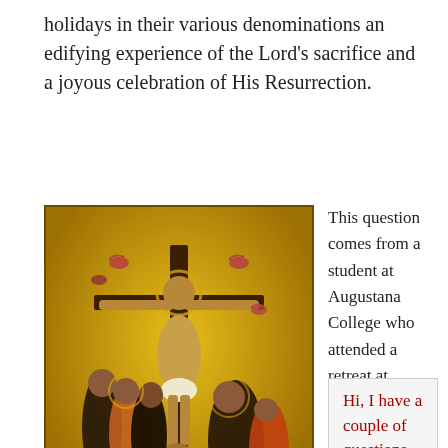holidays in their various denominations an edifying experience of the Lord's sacrifice and a joyous celebration of His Resurrection.
[Figure (illustration): Byzantine-style icon painting of the Crucifixion: Christ on the cross with birds/doves around the crossbar, mourning figures on the left (women in dark robes), and figures on the right. Gold background typical of Orthodox iconography. City walls and skulls at the base of the cross.]
This question comes from a student at Augustana College who attended a retreat at Stronghold Castle where I spoke last weekend on the subject of Ring Composition in Harry Potter:
Hi, I have a couple of questions for